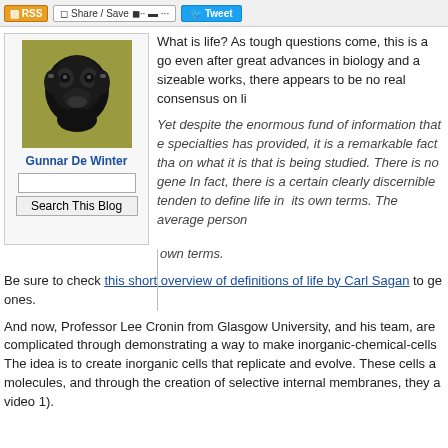RSS | Share / Save | Tweet
[Figure (photo): Photo of a primate/monkey with headphones against a gold/olive background, displayed as a blog avatar]
Gunnar De Winter
Search This Blog
What is life? As tough questions come, this is a go even after great advances in biology and a sizeable works, there appears to be no real consensus on li
Yet despite the enormous fund of information that e specialties has provided, it is a remarkable fact tha on what it is that is being studied. There is no gene In fact, there is a certain clearly discernible tenden to define life in  its own terms. The average person own terms.
Be sure to check this short overview of definitions of life by Carl Sagan to ge ones.
And now, Professor Lee Cronin from Glasgow University, and his team, are complicated through demonstrating a way to make inorganic-chemical-cells The idea is to create inorganic cells that replicate and evolve. These cells a molecules, and through the creation of selective internal membranes, they a video 1).